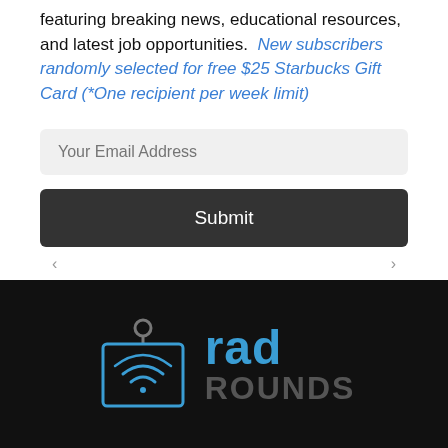featuring breaking news, educational resources, and latest job opportunities. New subscribers randomly selected for free $25 Starbucks Gift Card (*One recipient per week limit)
[Figure (other): Email subscription form with 'Your Email Address' input field and dark 'Submit' button]
[Figure (logo): RadRounds logo on black background: badge/card icon on left with wifi-like radiology symbol, 'rad' in blue bold text and 'ROUNDS' in gray bold text on right]